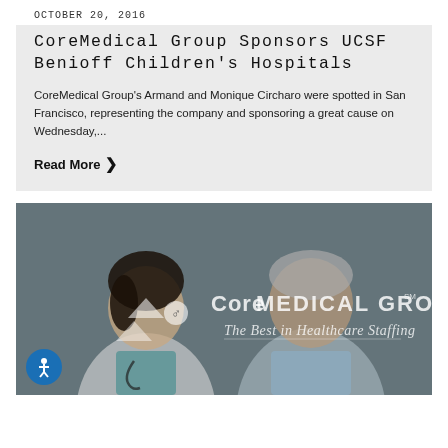OCTOBER 20, 2016
CoreMedical Group Sponsors UCSF Benioff Children's Hospitals
CoreMedical Group's Armand and Monique Circharo were spotted in San Francisco, representing the company and sponsoring a great cause on Wednesday,...
Read More ❯
[Figure (photo): CoreMedical Group branded image showing a smiling female healthcare worker with a stethoscope alongside an older male patient. Overlay text reads 'CoreMEDICAL GROUP℠ The Best in Healthcare Staffing']